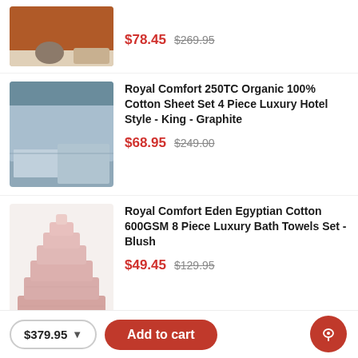[Figure (photo): Orange/terracotta bed comforter set on a bed, partial view at top]
$78.45  $269.95
[Figure (photo): Grey/graphite cotton sheet set on a king bed in a bedroom setting]
Royal Comfort 250TC Organic 100% Cotton Sheet Set 4 Piece Luxury Hotel Style - King - Graphite
$68.95  $249.00
[Figure (photo): Blush pink stacked bath towels set]
Royal Comfort Eden Egyptian Cotton 600GSM 8 Piece Luxury Bath Towels Set - Blush
$49.45  $129.95
Top Rated
$379.95
Add to cart